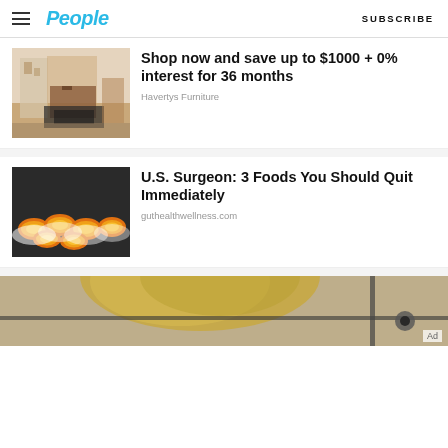People | SUBSCRIBE
Shop now and save up to $1000 + 0% interest for 36 months
Havertys Furniture
U.S. Surgeon: 3 Foods You Should Quit Immediately
guthealthwellness.com
[Figure (photo): Bottom partial image of a blonde person near a vehicle or machine, with an 'Ad' label in the bottom right corner.]